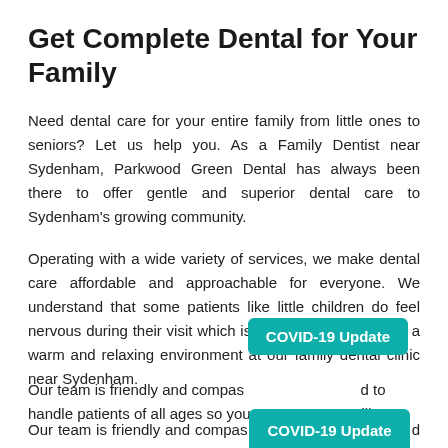Get Complete Dental for Your Family
Need dental care for your entire family from little ones to seniors? Let us help you. As a Family Dentist near Sydenham, Parkwood Green Dental has always been there to offer gentle and superior dental care to Sydenham's growing community.
Operating with a wide variety of services, we make dental care affordable and approachable for everyone. We understand that some patients like little children do feel nervous during their visit which is why we aim to provide a warm and relaxing environment at our family dental clinic near Sydenham.
Our team is friendly and compassionate and to handle patients of all ages so you can rest assured we will
[Figure (other): COVID-19 Update button overlay in teal/green color]